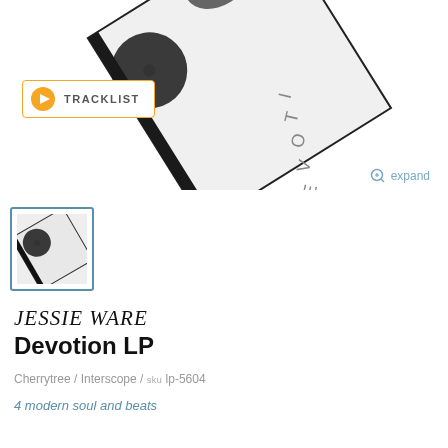[Figure (photo): Album cover of Devotion LP by Jessie Ware, shown at an angle with letters D-E-V-O-T-I visible along the spine against a white background]
[Figure (other): Tracklist button with orange play icon and text TRACKLIST inside an orange-bordered rectangle]
expand
[Figure (photo): Small thumbnail of the Devotion LP album cover inside a teal-bordered box]
JESSIE WARE
Devotion LP
Cherrytree / Interscope / sku lp-5604
4 modern soul and beats